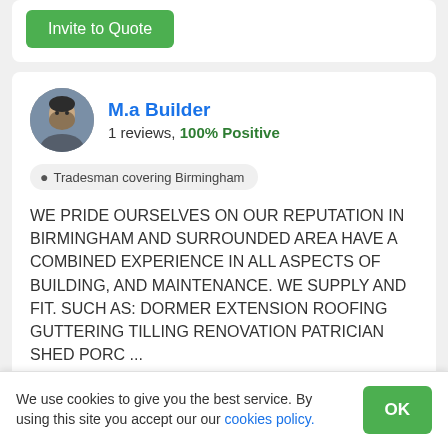[Figure (other): Invite to Quote green button (partial card at top)]
M.a Builder
1 reviews, 100% Positive
Tradesman covering Birmingham
WE PRIDE OURSELVES ON OUR REPUTATION IN BIRMINGHAM AND SURROUNDED AREA HAVE A COMBINED EXPERIENCE IN ALL ASPECTS OF BUILDING, AND MAINTENANCE. WE SUPPLY AND FIT. SUCH AS: DORMER EXTENSION ROOFING GUTTERING TILLING RENOVATION PATRICIAN SHED PORC ...
We use cookies to give you the best service. By using this site you accept our our cookies policy.